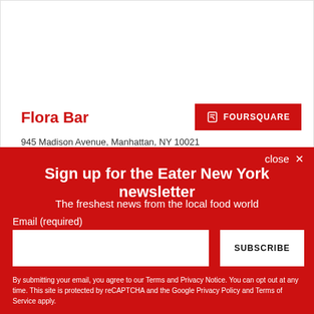Flora Bar
945 Madison Avenue, Manhattan, NY 10021
(646) 558-5383
Visit Website
[Figure (logo): Foursquare button with logo icon and text FOURSQUARE]
close ×
Sign up for the Eater New York newsletter
The freshest news from the local food world
Email (required)
SUBSCRIBE
By submitting your email, you agree to our Terms and Privacy Notice. You can opt out at any time. This site is protected by reCAPTCHA and the Google Privacy Policy and Terms of Service apply.